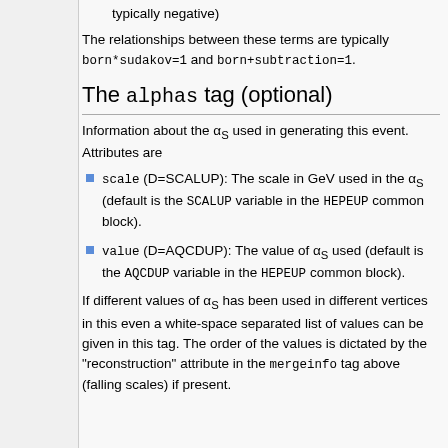typically negative)
The relationships between these terms are typically born*sudakov=1 and born+subtraction=1.
The alphas tag (optional)
Information about the αS used in generating this event. Attributes are
scale (D=SCALUP): The scale in GeV used in the αS (default is the SCALUP variable in the HEPEUP common block).
value (D=AQCDUP): The value of αS used (default is the AQCDUP variable in the HEPEUP common block).
If different values of αS has been used in different vertices in this even a white-space separated list of values can be given in this tag. The order of the values is dictated by the "reconstruction" attribute in the mergeinfo tag above (falling scales) if present.